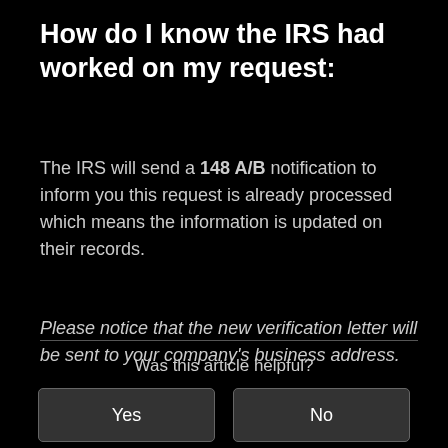How do I know the IRS had worked on my request:
The IRS will send a 148 A/B notification to inform you this request is already processed which means the information is updated on their records.
Please notice that the new verification letter will be sent to your company's business address.
Was this article helpful?
Yes
No
3 out of 3 found this helpful